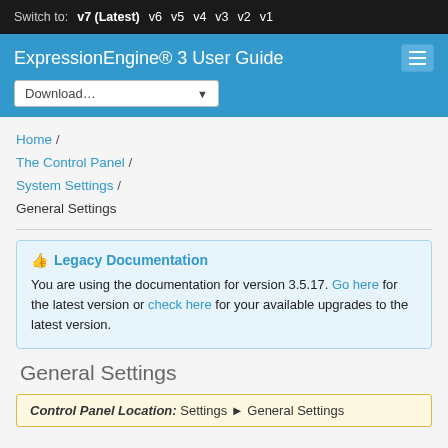Switch to: v7 (Latest) v6 v5 v4 v3 v2 v1
ExpressionEngine® 3 User Guide
Download...
Home / The Control Panel / System Settings / General Settings
👍 Legacy Documentation

You are using the documentation for version 3.5.17. Go here for the latest version or check here for your available upgrades to the latest version.
General Settings
Control Panel Location: Settings ▸ General Settings